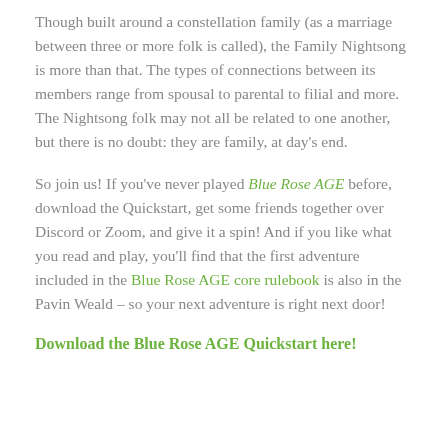Though built around a constellation family (as a marriage between three or more folk is called), the Family Nightsong is more than that. The types of connections between its members range from spousal to parental to filial and more. The Nightsong folk may not all be related to one another, but there is no doubt: they are family, at day's end.
So join us! If you've never played Blue Rose AGE before, download the Quickstart, get some friends together over Discord or Zoom, and give it a spin! And if you like what you read and play, you'll find that the first adventure included in the Blue Rose AGE core rulebook is also in the Pavin Weald – so your next adventure is right next door!
Download the Blue Rose AGE Quickstart here!